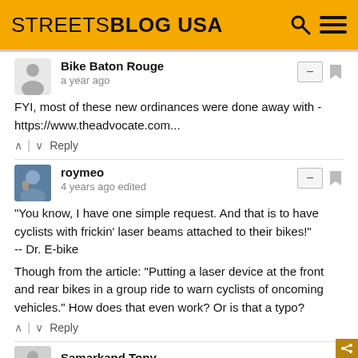STREETSBLOG USA
Bike Baton Rouge
a year ago
FYI, most of these new ordinances were done away with - https://www.theadvocate.com...
roymeo
4 years ago edited
"You know, I have one simple request. And that is to have cyclists with frickin' laser beams attached to their bikes!" -- Dr. E-bike

Though from the article: "Putting a laser device at the front and rear bikes in a group ride to warn cyclists of oncoming vehicles." How does that even work? Or is that a typo?
Samarkand Tony